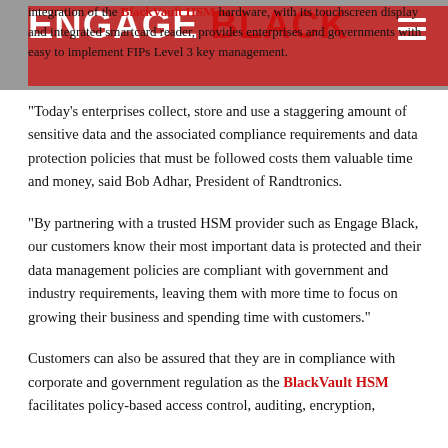ENGAGE BLACK
integration of the BlackVault HSM hardware, with its touchscreen display and integrated smartcard reader, provides enterprises and governments with easy to implement FIPs Level 3 key management.
“Today's enterprises collect, store and use a staggering amount of sensitive data and the associated compliance requirements and data protection policies that must be followed costs them valuable time and money, said Bob Adhar, President of Randtronics.
“By partnering with a trusted HSM provider such as Engage Black, our customers know their most important data is protected and their data management policies are compliant with government and industry requirements, leaving them with more time to focus on growing their business and spending time with customers.”
Customers can also be assured that they are in compliance with corporate and government regulation as the BlackVault HSM facilitates policy-based access control, auditing, encryption,